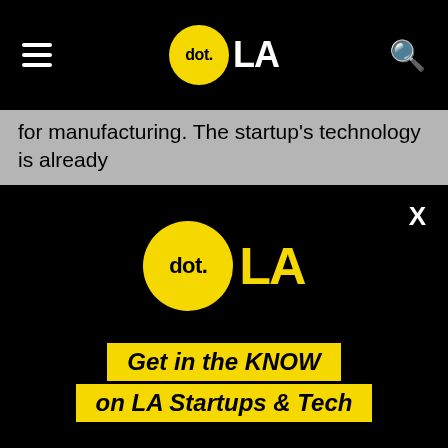dot.LA navigation bar with hamburger menu and search icon
for manufacturing. The startup's technology is already
[Figure (logo): dot.LA logo large on black background with yellow circle and yellow LA text]
Get in the KNOW on LA Startups & Tech
Email